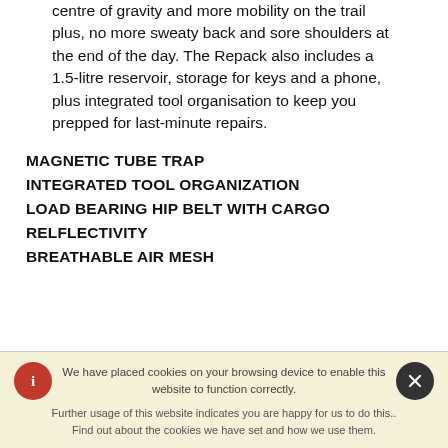centre of gravity and more mobility on the trail plus, no more sweaty back and sore shoulders at the end of the day. The Repack also includes a 1.5-litre reservoir, storage for keys and a phone, plus integrated tool organisation to keep you prepped for last-minute repairs.
MAGNETIC TUBE TRAP
INTEGRATED TOOL ORGANIZATION
LOAD BEARING HIP BELT WITH CARGO
RELFLECTIVITY
BREATHABLE AIR MESH
We have placed cookies on your browsing device to enable this website to function correctly. Further usage of this website indicates you are happy for us to do this.. Find out about the cookies we have set and how we use them.